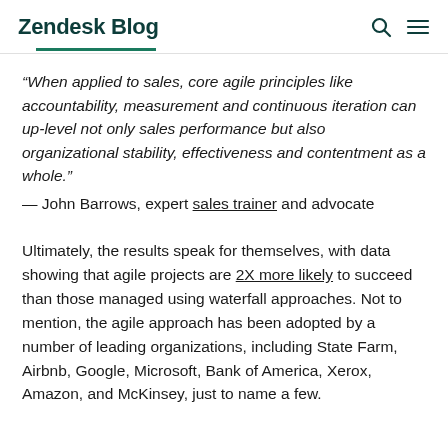Zendesk Blog
“When applied to sales, core agile principles like accountability, measurement and continuous iteration can up-level not only sales performance but also organizational stability, effectiveness and contentment as a whole.”
— John Barrows, expert sales trainer and advocate
Ultimately, the results speak for themselves, with data showing that agile projects are 2X more likely to succeed than those managed using waterfall approaches. Not to mention, the agile approach has been adopted by a number of leading organizations, including State Farm, Airbnb, Google, Microsoft, Bank of America, Xerox, Amazon, and McKinsey, just to name a few.